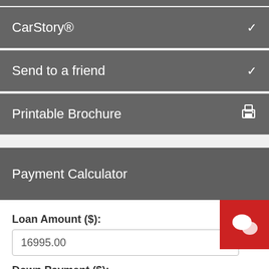CarStory®
Send to a friend
Printable Brochure
Payment Calculator
Loan Amount ($):
16995.00
Down Payment ($):
1000
APR (%):
4.95